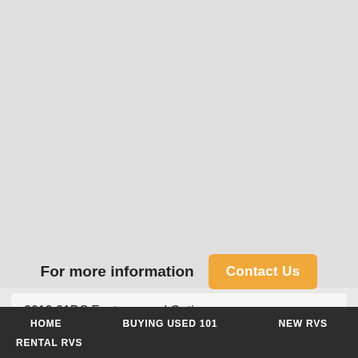For more information  Contact Us
2019 21DS Features and Options
Forest River Flagstaff Micro Lite travel trailer 21DS highlights:
U-Shaped Dinette
Pass Through Storage
Rear Corner Bath...
HOME  BUYING USED 101  NEW RVS  RENTAL RVS